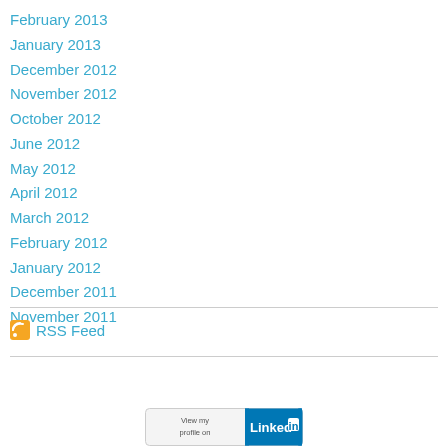February 2013
January 2013
December 2012
November 2012
October 2012
June 2012
May 2012
April 2012
March 2012
February 2012
January 2012
December 2011
November 2011
RSS Feed
[Figure (logo): LinkedIn View my profile on LinkedIn badge]